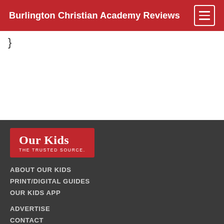Burlington Christian Academy Reviews
}
[Figure (logo): Our Kids - The Trusted Source logo on red background]
ABOUT OUR KIDS
PRINT/DIGITAL GUIDES
OUR KIDS APP
ADVERTISE
CONTACT